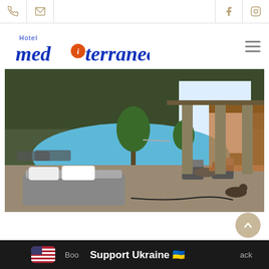Hotel Mediterraneo website header with phone, email, Facebook, Instagram icons
[Figure (logo): Hotel Mediterraneo logo with blue italic text and orange circle accent]
[Figure (photo): Hotel Mediterraneo outdoor pool area at dusk with lounge bed, seating, plants, and bar/restaurant in background]
Support Ukraine 🇺🇦